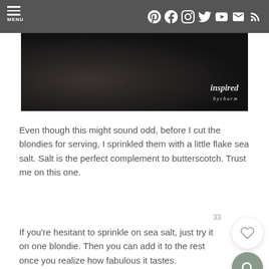MENU | social icons: Pinterest, Facebook, Instagram, Twitter, YouTube, Email, RSS
[Figure (photo): Dark close-up photo of blondies on a dark background, with 'inspired by charm' watermark in bottom right]
Even though this might sound odd, before I cut the blondies for serving, I sprinkled them with a little flake sea salt. Salt is the perfect complement to butterscotch. Trust me on this one.
If you’re hesitant to sprinkle on sea salt, just try it on one blondie. Then you can add it to the rest once you realize how fabulous it tastes.